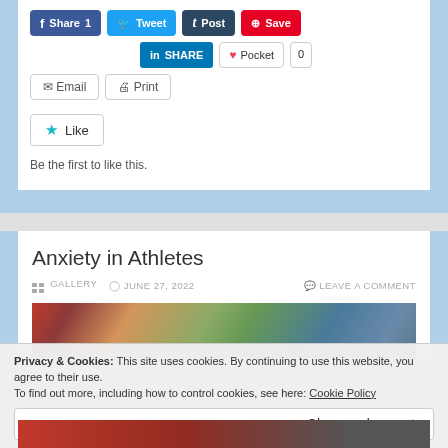[Figure (screenshot): Social sharing buttons row 1: Facebook Share 1, Tweet, Tumblr Post, Pinterest Save]
[Figure (screenshot): Social sharing buttons row 2: LinkedIn SHARE, Pocket 0]
[Figure (screenshot): Email and Print buttons]
[Figure (screenshot): Like button (star icon)]
Be the first to like this.
Anxiety in Athletes
GALLERY   JUNE 27, 2022   LEAVE A COMMENT
[Figure (photo): Photo of person in library with books]
Privacy & Cookies: This site uses cookies. By continuing to use this website, you agree to their use.
To find out more, including how to control cookies, see here: Cookie Policy
[Figure (photo): Partial photo at bottom with red/dark tones]